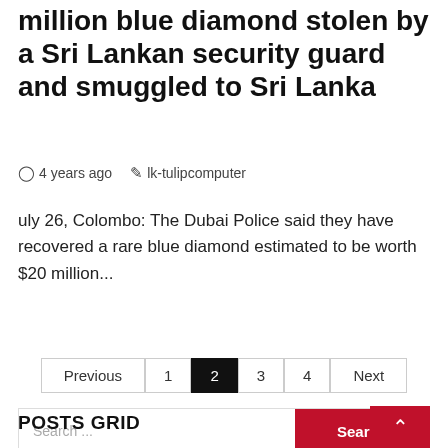million blue diamond stolen by a Sri Lankan security guard and smuggled to Sri Lanka
4 years ago   lk-tulipcomputer
uly 26, Colombo: The Dubai Police said they have recovered a rare blue diamond estimated to be worth $20 million...
Previous  1  2  3  4  Next
Search ...
POSTS GRID